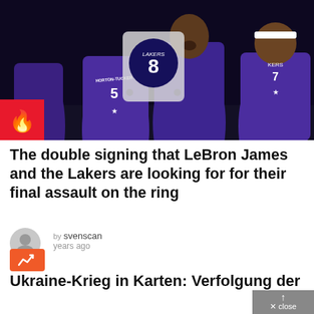[Figure (photo): Basketball players in purple Lakers jerseys, including players with numbers 5 (Horton-Tucker), 7, and others. A badge overlay shows number 8 with LAKERS text. A red fire icon box appears in bottom-left corner of the photo.]
The double signing that LeBron James and the Lakers are looking for for their final assault on the ring
by svenscan
years ago
Ukraine-Krieg in Karten: Verfolgung der